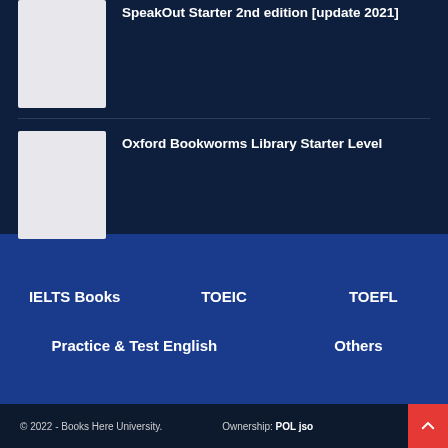SpeakOut Starter 2nd edition [update 2021]
[Figure (illustration): Book thumbnail placeholder (light gray rectangle)]
Oxford Bookworms Library Starter Level
[Figure (illustration): Book thumbnail placeholder (light gray rectangle)]
IELTS Books
TOEIC
TOEFL
Practice & Test English
Others
© 2022 - Books Here University.    Ownership: POL jso